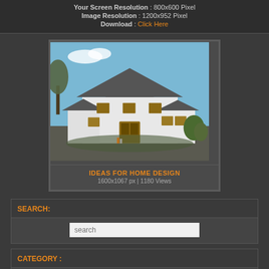Your Screen Resolution : 800x600 Pixel
Image Resolution : 1200x952 Pixel
Download : Click Here
[Figure (photo): 3D rendered image of a large white two-story house with dark roof and landscaping]
IDEAS FOR HOME DESIGN
1600x1067 px | 1180 Views
SEARCH:
search
CATEGORY :
CONTACT US   COPYRIGHT POLICY   DMCA
PRIVACY POLICY   SITEMAP